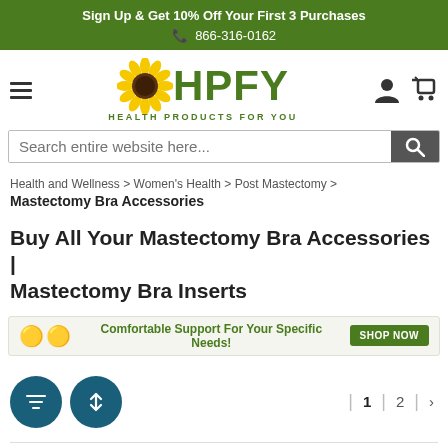Sign Up & Get 10% Off Your First 3 Purchases
📞 866-316-0162
[Figure (logo): HPFY Health Products For You logo with sunflower graphic]
Search entire website here...
Health and Wellness > Women's Health > Post Mastectomy > Mastectomy Bra Accessories
Buy All Your Mastectomy Bra Accessories | Mastectomy Bra Inserts
[Figure (infographic): Ad banner: Comfortable Support For Your Specific Needs! SHOP NOW]
| 1 | 2 | >